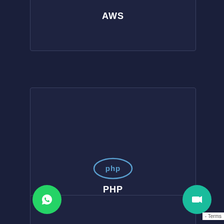[Figure (logo): AWS technology card with AWS label text]
[Figure (logo): PHP technology card with PHP logo (oval border with 'php' text) and PHP label]
[Figure (logo): Angular technology card with Angular shield logo and ANGULAR label]